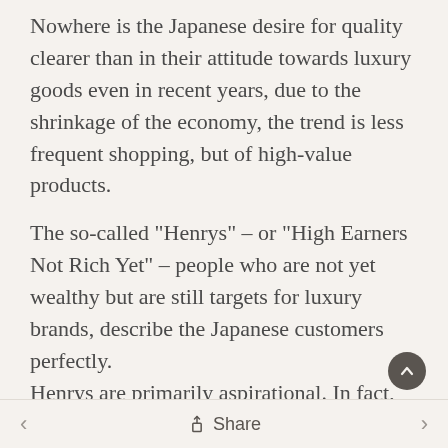Nowhere is the Japanese desire for quality clearer than in their attitude towards luxury goods even in recent years, due to the shrinkage of the economy, the trend is less frequent shopping, but of high-value products.
The so-called "Henrys" – or "High Earners Not Rich Yet" – people who are not yet wealthy but are still targets for luxury brands, describe the Japanese customers perfectly.
Henrys are primarily aspirational. In fact, they are some of the most active followers of luxury
< Share >